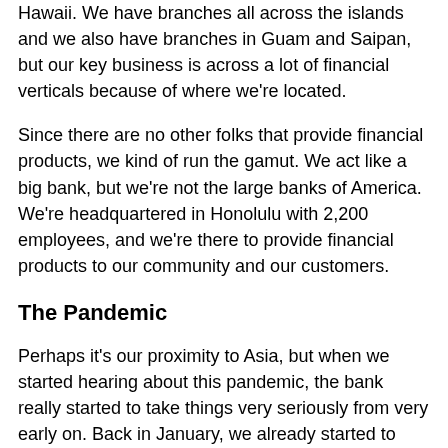Hawaii. We have branches all across the islands and we also have branches in Guam and Saipan, but our key business is across a lot of financial verticals because of where we're located.
Since there are no other folks that provide financial products, we kind of run the gamut. We act like a big bank, but we're not the large banks of America. We're headquartered in Honolulu with 2,200 employees, and we're there to provide financial products to our community and our customers.
The Pandemic
Perhaps it's our proximity to Asia, but when we started hearing about this pandemic, the bank really started to take things very seriously from very early on. Back in January, we already started to look at increasing our stock of PPE, hand sanitizer, and things of that nature. We knew this was